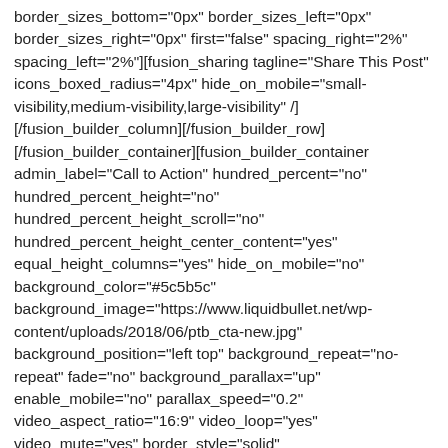border_sizes_bottom="0px" border_sizes_left="0px" border_sizes_right="0px" first="false" spacing_right="2%" spacing_left="2%"][fusion_sharing tagline="Share This Post" icons_boxed_radius="4px" hide_on_mobile="small-visibility,medium-visibility,large-visibility" /] [/fusion_builder_column][/fusion_builder_row] [/fusion_builder_container][fusion_builder_container admin_label="Call to Action" hundred_percent="no" hundred_percent_height="no" hundred_percent_height_scroll="no" hundred_percent_height_center_content="yes" equal_height_columns="yes" hide_on_mobile="no" background_color="#5c5b5c" background_image="https://www.liquidbullet.net/wp-content/uploads/2018/06/ptb_cta-new.jpg" background_position="left top" background_repeat="no-repeat" fade="no" background_parallax="up" enable_mobile="no" parallax_speed="0.2" video_aspect_ratio="16:9" video_loop="yes" video_mute="yes" border_style="solid"